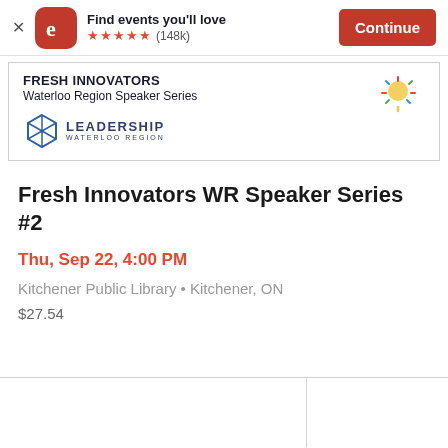[Figure (screenshot): App store banner with Eventbrite logo, 'Find events you'll love', 5 star rating (148k reviews), and Continue button]
[Figure (logo): Fresh Innovators Waterloo Region Speaker Series banner with Leadership Waterloo Region logo and colorful sun decoration]
Fresh Innovators WR Speaker Series #2
Thu, Sep 22, 4:00 PM
Kitchener Public Library • Kitchener, ON
$27.54
[Figure (illustration): Row of lightbulb outlines at the bottom of the page]